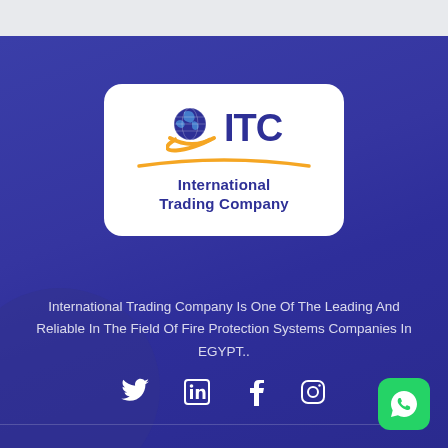[Figure (logo): ITC International Trading Company logo — white rounded rectangle card with blue globe icon, orange swoosh arc, bold blue 'ITC' text, and subtitle 'International Trading Company']
International Trading Company Is One Of The Leading And Reliable In The Field Of Fire Protection Systems Companies In EGYPT..
[Figure (infographic): Social media icons row: Twitter bird, LinkedIn 'in', Facebook 'f', Instagram camera outline — all white on blue background]
[Figure (other): WhatsApp green button with phone icon, bottom right corner]